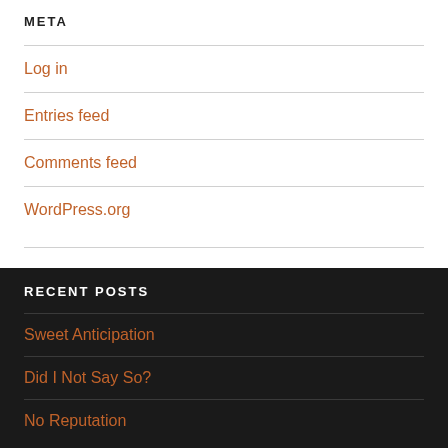META
Log in
Entries feed
Comments feed
WordPress.org
RECENT POSTS
Sweet Anticipation
Did I Not Say So?
No Reputation